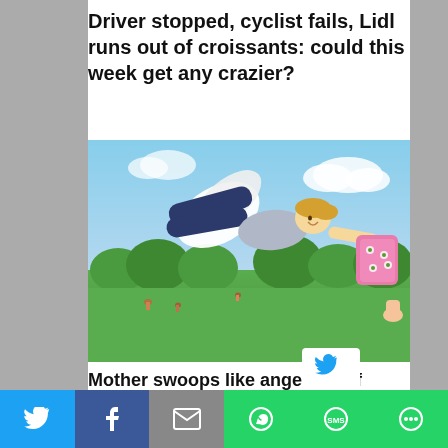Driver stopped, cyclist fails, Lidl runs out of croissants: could this week get any crazier?
[Figure (photo): A woman with white angel wings flying through the sky over a park, smiling and handing a pink floral backpack downward to an outstretched hand below.]
Mother swoops like angel out of sky to deliver snacks to kid who exerted himself for 15 minutes